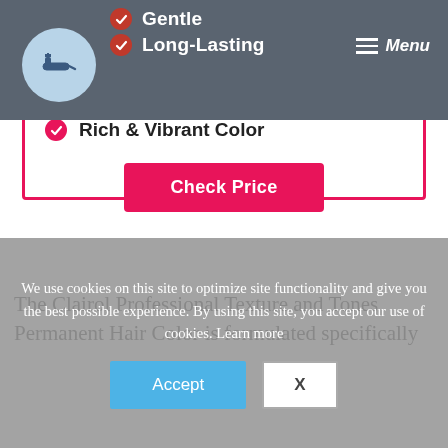Gentle
Long-Lasting
Rich & Vibrant Color
Check Price
The Clairol Professional Texture and Tones Permanent Hair Color is formulated specifically
We use cookies on this site to optimize site functionality and give you the best possible experience. By using this site, you accept our use of cookies. Learn more
Accept
X